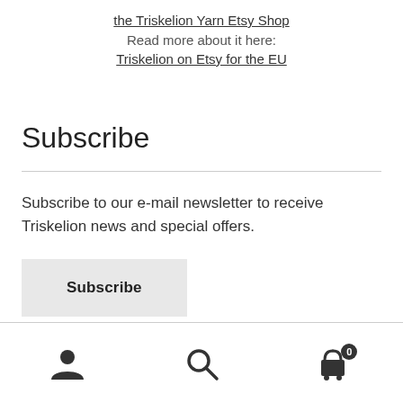the Triskelion Yarn Etsy Shop
Read more about it here:
Triskelion on Etsy for the EU
Subscribe
Subscribe to our e-mail newsletter to receive Triskelion news and special offers.
Subscribe
[user icon] [search icon] [cart icon with badge 0]